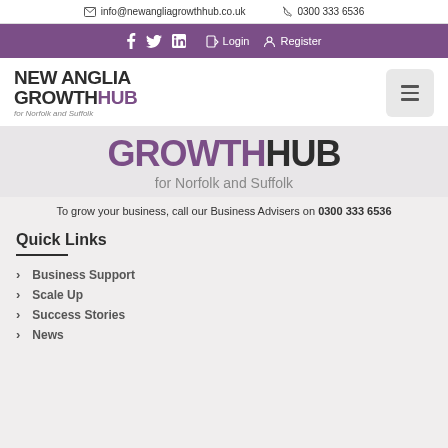info@newangliagrowthhub.co.uk  0300 333 6536
f  Twitter  in  Login  Register
[Figure (logo): New Anglia Growth Hub logo with text 'for Norfolk and Suffolk']
[Figure (screenshot): Large hero banner showing 'GROWTHHUB for Norfolk and Suffolk']
To grow your business, call our Business Advisers on 0300 333 6536
Quick Links
Business Support
Scale Up
Success Stories
News